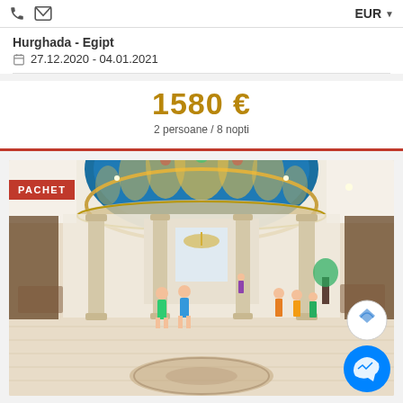EUR
Hurghada - Egipt
27.12.2020 - 04.01.2021
1580€
2 persoane / 8 nopti
[Figure (photo): Hotel lobby interior with ornate blue mosaic dome ceiling, marble columns, and tourists walking through the grand entrance hall. PACHET badge in top-left corner. Messenger chat button in bottom-right.]